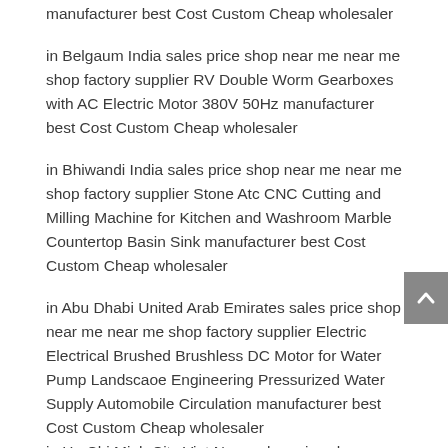manufacturer best Cost Custom Cheap wholesaler
in Belgaum India sales price shop near me near me shop factory supplier RV Double Worm Gearboxes with AC Electric Motor 380V 50Hz manufacturer best Cost Custom Cheap wholesaler
in Bhiwandi India sales price shop near me near me shop factory supplier Stone Atc CNC Cutting and Milling Machine for Kitchen and Washroom Marble Countertop Basin Sink manufacturer best Cost Custom Cheap wholesaler
in Abu Dhabi United Arab Emirates sales price shop near me near me shop factory supplier Electric Electrical Brushed Brushless DC Motor for Water Pump Landscaoe Engineering Pressurized Water Supply Automobile Circulation manufacturer best Cost Custom Cheap wholesaler
in Ho Chi Minh City Viet Nam sales price shop near me near me shop factory supplier High Wear